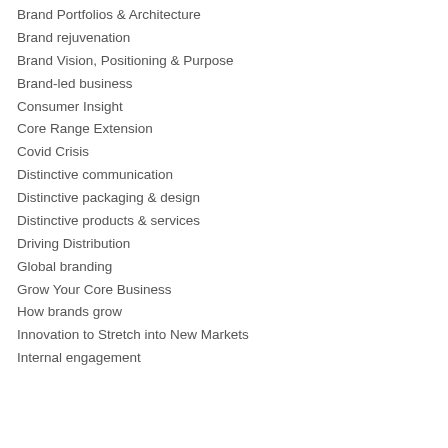Brand Portfolios & Architecture
Brand rejuvenation
Brand Vision, Positioning & Purpose
Brand-led business
Consumer Insight
Core Range Extension
Covid Crisis
Distinctive communication
Distinctive packaging & design
Distinctive products & services
Driving Distribution
Global branding
Grow Your Core Business
How brands grow
Innovation to Stretch into New Markets
Internal engagement